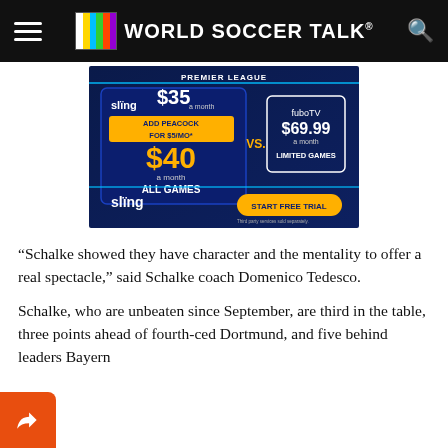WORLD SOCCER TALK
[Figure (advertisement): Sling TV vs fuboTV Premier League advertisement. Sling $35 a month, add Peacock for $5/mo*, $40 a month ALL GAMES vs fuboTV $69.99 a month LIMITED GAMES. START FREE TRIAL button. Third party services sold separately.]
“Schalke showed they have character and the mentality to offer a real spectacle,” said Schalke coach Domenico Tedesco.
Schalke, who are unbeaten since September, are third in the table, three points ahead of fourth-ced Dortmund, and five behind leaders Bayern